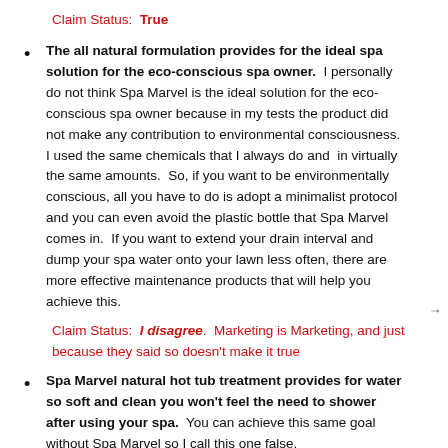Claim Status: True
The all natural formulation provides for the ideal spa solution for the eco-conscious spa owner. I personally do not think Spa Marvel is the ideal solution for the eco-conscious spa owner because in my tests the product did not make any contribution to environmental consciousness. I used the same chemicals that I always do and in virtually the same amounts. So, if you want to be environmentally conscious, all you have to do is adopt a minimalist protocol and you can even avoid the plastic bottle that Spa Marvel comes in. If you want to extend your drain interval and dump your spa water onto your lawn less often, there are more effective maintenance products that will help you achieve this.
Claim Status: I disagree. Marketing is Marketing, and just because they said so doesn't make it true
Spa Marvel natural hot tub treatment provides for water so soft and clean you won't feel the need to shower after using your spa. You can achieve this same goal without Spa Marvel so I call this one false.